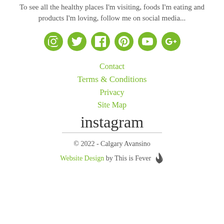To see all the healthy places I'm visiting, foods I'm eating and products I'm loving, follow me on social media...
[Figure (infographic): Six green circular social media icons: Instagram, Twitter, Facebook, Pinterest, YouTube, Google+]
Contact
Terms & Conditions
Privacy
Site Map
instagram
© 2022 - Calgary Avansino
Website Design by This is Fever 🔥